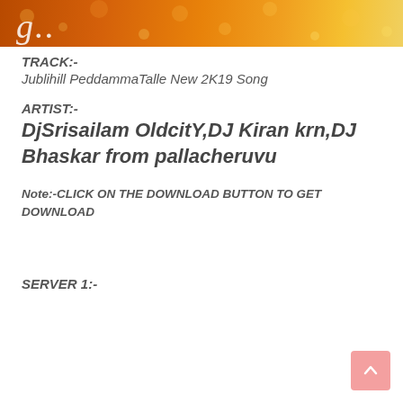[Figure (illustration): Orange and yellow bokeh/droplets banner image with stylized text in cursive]
TRACK:-
Jublihill PeddammaTalle New 2K19 Song
ARTIST:-
DjSrisailam OldcitY,DJ Kiran krn,DJ Bhaskar from pallacheruvu
Note:-CLICK ON THE DOWNLOAD BUTTON TO GET DOWNLOAD
SERVER 1:-